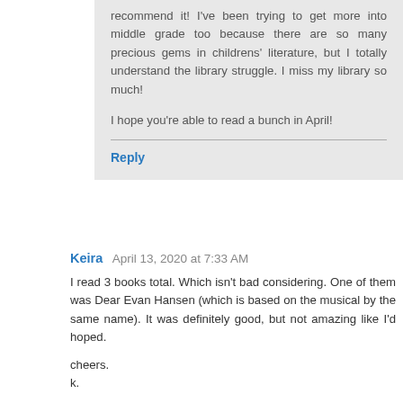recommend it! I've been trying to get more into middle grade too because there are so many precious gems in childrens' literature, but I totally understand the library struggle. I miss my library so much!

I hope you're able to read a bunch in April!
Reply
Keira April 13, 2020 at 7:33 AM
I read 3 books total. Which isn't bad considering. One of them was Dear Evan Hansen (which is based on the musical by the same name). It was definitely good, but not amazing like I'd hoped.

cheers.
k.
Reply